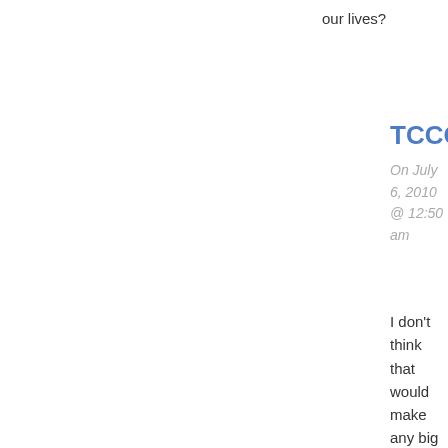our lives?
TCCG
On July 6, 2010 @ 12:50 am
I don't think that would make any big difference. My lecturer back in